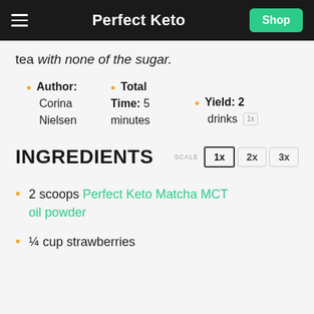Perfect Keto
tea with none of the sugar.
Author: Corina Nielsen
Total Time: 5 minutes
Yield: 2 drinks
INGREDIENTS
2 scoops Perfect Keto Matcha MCT oil powder
¼ cup strawberries